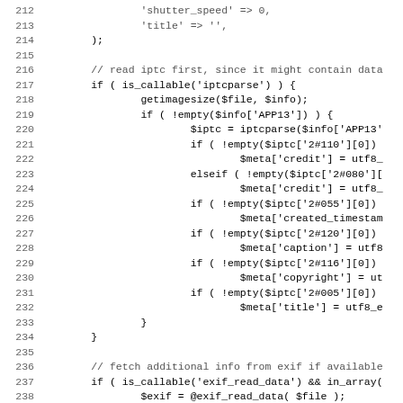Code listing lines 212-243, PHP source code showing IPTC and EXIF data reading logic